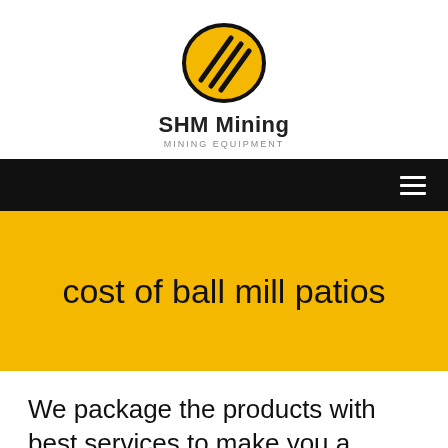[Figure (logo): SHM Mining logo: yellow oval with black diagonal lines, company name 'SHM Mining' and tagline 'MINING EQUIPMENT']
[Figure (other): Black navigation bar with hamburger menu icon on the right]
cost of ball mill patios
We package the products with best services to make you a happy